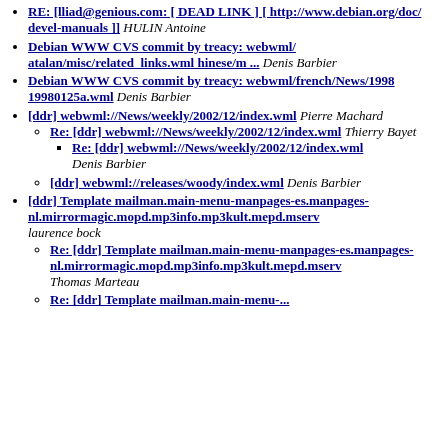RE: [lliad@genious.com: [ DEAD LINK ] [ http://www.debian.org/doc/ devel-manuals ]] HULIN Antoine
Debian WWW CVS commit by treacy: webwml/atalan/misc/related_links.wml hinese/m ... Denis Barbier
Debian WWW CVS commit by treacy: webwml/french/News/1998 19980125a.wml Denis Barbier
[ddr] webwml://News/weekly/2002/12/index.wml Pierre Machard
Re: [ddr] webwml://News/weekly/2002/12/index.wml Thierry Bayet
Re: [ddr] webwml://News/weekly/2002/12/index.wml Denis Barbier
[ddr] webwml://releases/woody/index.wml Denis Barbier
[ddr] Template mailman.main-menu-manpages-es.manpages-nl.mirrormagic.mopd.mp3info.mp3kult.mepd.mserv laurence bock
Re: [ddr] Template mailman.main-menu-manpages-es.manpages-nl.mirrormagic.mopd.mp3info.mp3kult.mepd.mserv Thomas Marteau
Re: [ddr] Template mailman.main-menu-...